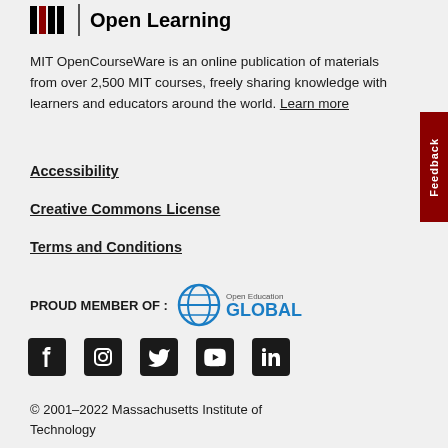[Figure (logo): MIT Open Learning logo with MIT bars and divider]
MIT OpenCourseWare is an online publication of materials from over 2,500 MIT courses, freely sharing knowledge with learners and educators around the world. Learn more
Accessibility
Creative Commons License
Terms and Conditions
PROUD MEMBER OF :
[Figure (logo): Open Education Global logo with globe icon and text]
[Figure (logo): Social media icons: Facebook, Instagram, Twitter, YouTube, LinkedIn]
© 2001–2022 Massachusetts Institute of Technology